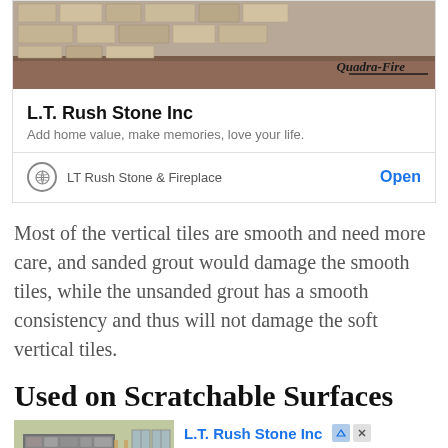[Figure (photo): Stone wall with carpet floor, Quadra-Fire logo watermark in bottom right]
L.T. Rush Stone Inc
Add home value, make memories, love your life.
LT Rush Stone & Fireplace    Open
Most of the vertical tiles are smooth and need more care, and sanded grout would damage the smooth tiles, while the unsanded grout has a smooth consistency and thus will not damage the soft vertical tiles.
Used on Scratchable Surfaces
[Figure (photo): Stone fireplace interior with ladder and windows, Quadra-Fire logo]
L.T. Rush Stone Inc
Ad